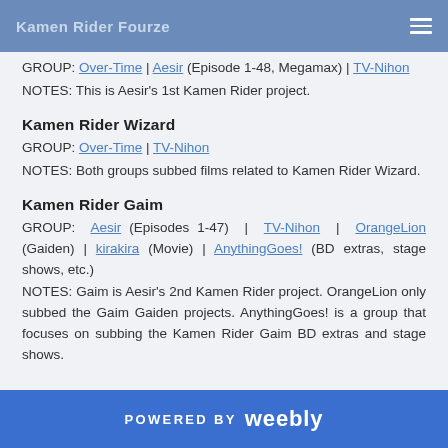Kamen Rider Fourze
GROUP: Over-Time | Aesir (Episode 1-48, Megamax) | TV-Nihon
NOTES: This is Aesir's 1st Kamen Rider project.
Kamen Rider Wizard
GROUP: Over-Time | TV-Nihon
NOTES: Both groups subbed films related to Kamen Rider Wizard.
Kamen Rider Gaim
GROUP: Aesir (Episodes 1-47) | TV-Nihon | OrangeLion (Gaiden) | kirakira (Movie) | AnythingGoes! (BD extras, stage shows, etc.)
NOTES: Gaim is Aesir's 2nd Kamen Rider project. OrangeLion only subbed the Gaim Gaiden projects. AnythingGoes! is a group that focuses on subbing the Kamen Rider Gaim BD extras and stage shows.
POWERED BY weebly